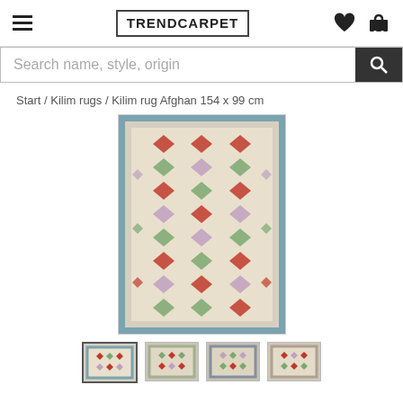TRENDCARPET
Search name, style, origin
Start / Kilim rugs / Kilim rug Afghan 154 x 99 cm
[Figure (photo): A colorful Afghan Kilim rug with geometric diamond/hexagon patterns in red, green, blue, lavender and cream colors]
[Figure (photo): Thumbnail 1 - selected - close-up of Afghan kilim rug]
[Figure (photo): Thumbnail 2 - Afghan kilim rug showing full view]
[Figure (photo): Thumbnail 3 - Afghan kilim rug alternative view]
[Figure (photo): Thumbnail 4 - Afghan kilim rug detail]